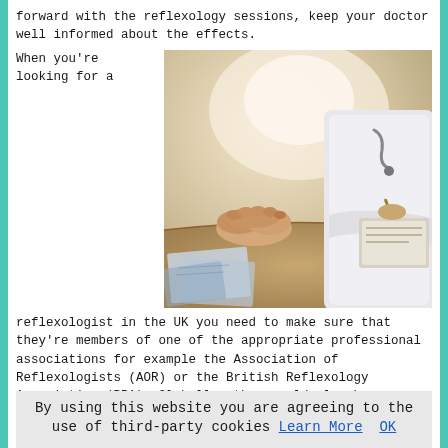forward with the reflexology sessions, keep your doctor well informed about the effects.
When you're looking for a
[Figure (photo): A patient with clasped hands sitting across from a doctor or healthcare professional who is writing notes, on a table with papers and a clipboard. Bright, clinical setting.]
reflexologist in the UK you need to make sure that they're members of one of the appropriate professional associations for example the Association of Reflexologists (AOR) or the British Reflexology Association (BRA). Globally, they could also be affiliated with the IFR (International Federation of Reflexologists) and the IIR (the International Institute of Reflexology). It is also essential that they're protected by the appropriate insurance policy. A Level 3 Diploma in Reflexology and Complementary Therapies is
By using this website you are agreeing to the use of third-party cookies Learn More  OK